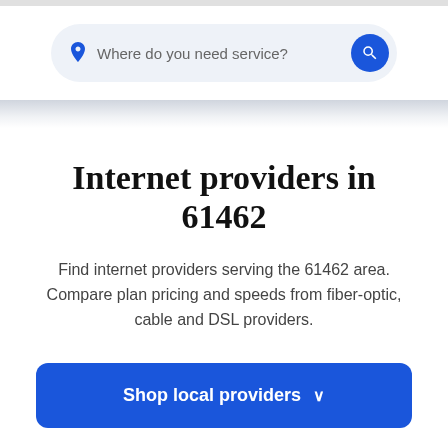[Figure (screenshot): Search bar with location pin icon and text 'Where do you need service?' and a blue circular search button]
Internet providers in 61462
Find internet providers serving the 61462 area. Compare plan pricing and speeds from fiber-optic, cable and DSL providers.
Shop local providers